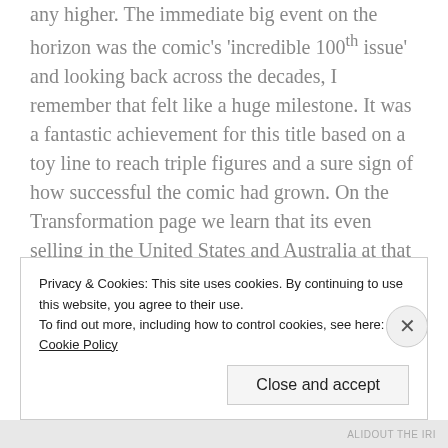any higher. The immediate big event on the horizon was the comic's 'incredible 100th issue' and looking back across the decades, I remember that felt like a huge milestone. It was a fantastic achievement for this title based on a toy line to reach triple figures and a sure sign of how successful the comic had grown. On the Transformation page we learn that its even selling in the United States and Australia at that point – a global phenomenon in the making! There's a nod to Australia in the Robo Capers strip for #96 which is fitting in the circumstances.
Privacy & Cookies: This site uses cookies. By continuing to use this website, you agree to their use. To find out more, including how to control cookies, see here: Cookie Policy
Close and accept